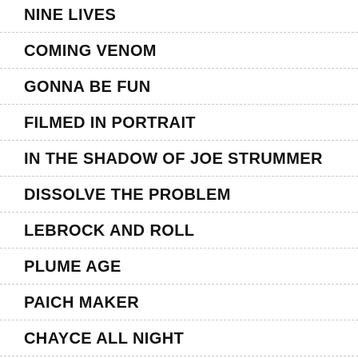NINE LIVES
COMING VENOM
GONNA BE FUN
FILMED IN PORTRAIT
IN THE SHADOW OF JOE STRUMMER
DISSOLVE THE PROBLEM
LEBROCK AND ROLL
PLUME AGE
PAICH MAKER
CHAYCE ALL NIGHT